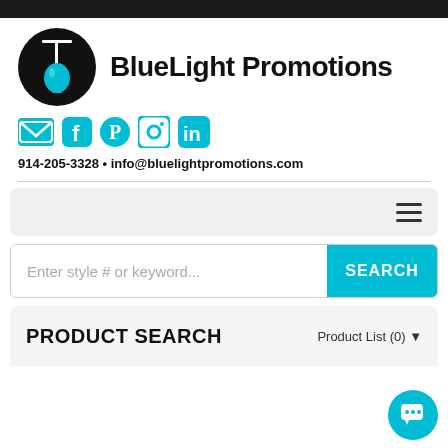[Figure (logo): BlueLight Promotions logo: black circle with blue light bulb and pole icon, next to bold text 'BlueLight Promotions']
[Figure (infographic): Social media icons: email (envelope), Facebook, Pinterest, Instagram, LinkedIn — all in cyan/blue color]
914-205-3328 • info@bluelightpromotions.com
[Figure (screenshot): Navigation bar with hamburger menu icon on right]
[Figure (screenshot): Search bar with placeholder 'Enter style # or keyword...' and cyan SEARCH button]
PRODUCT SEARCH
Product List (0)